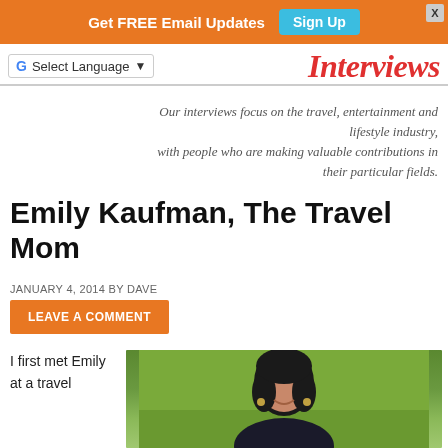Get FREE Email Updates | Sign Up
Select Language | Interviews
Our interviews focus on the travel, entertainment and lifestyle industry, with people who are making valuable contributions in their particular fields.
Emily Kaufman, The Travel Mom
JANUARY 4, 2014 BY DAVE
LEAVE A COMMENT
I first met Emily at a travel
[Figure (photo): Photo of Emily Kaufman, a woman with dark hair smiling, outdoors with green grass background]